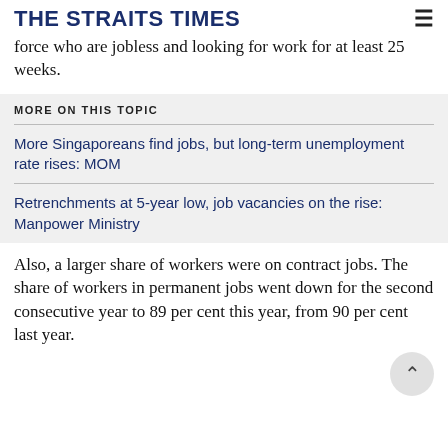THE STRAITS TIMES
force who are jobless and looking for work for at least 25 weeks.
MORE ON THIS TOPIC
More Singaporeans find jobs, but long-term unemployment rate rises: MOM
Retrenchments at 5-year low, job vacancies on the rise: Manpower Ministry
Also, a larger share of workers were on contract jobs. The share of workers in permanent jobs went down for the second consecutive year to 89 per cent this year, from 90 per cent last year.
MOM...